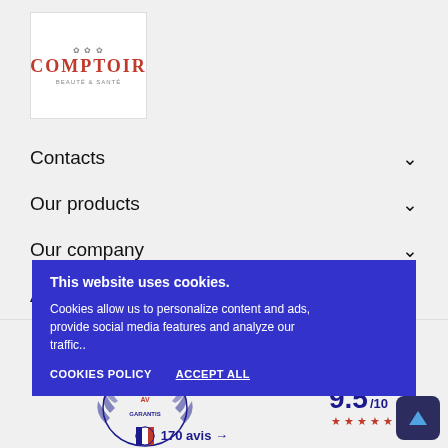[Figure (logo): Comptoir Beaute Sante logo with decorative floral element above red text]
Contacts
Our products
Our company
Account
This website uses cookies.
Cookies allow us to personalize content and ads, provide social media features and analyze our traffic..
COOKIES POLICY
ACCEPT ALL
[Figure (illustration): Societe des Avis Garantis badge/seal with laurel wreath and French flag emblem]
9.5/10
170 avis →